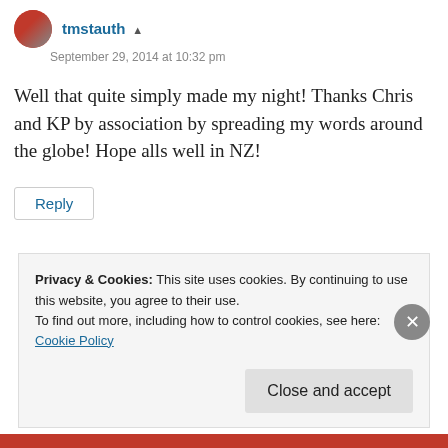[Figure (photo): Small circular avatar photo of a person wearing sunglasses]
tmstauth ▲
September 29, 2014 at 10:32 pm
Well that quite simply made my night! Thanks Chris and KP by association by spreading my words around the globe! Hope alls well in NZ!
Reply
Privacy & Cookies: This site uses cookies. By continuing to use this website, you agree to their use.
To find out more, including how to control cookies, see here:
Cookie Policy
Close and accept